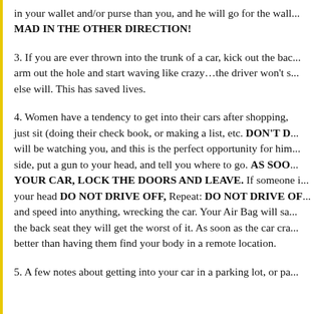in your wallet and/or purse than you, and he will go for the wall... MAD IN THE OTHER DIRECTION!
3. If you are ever thrown into the trunk of a car, kick out the back tail lights and stick your arm out the hole and start waving like crazy…the driver won't see you, but everybody else will. This has saved lives.
4. Women have a tendency to get into their cars after shopping, eating, working, etc., and just sit (doing their check book, or making a list, etc. DON'T DO THIS! The predator will be watching you, and this is the perfect opportunity for him to get in on the passenger side, put a gun to your head, and tell you where to go. AS SOON AS YOU GET INTO YOUR CAR, LOCK THE DOORS AND LEAVE. If someone is in the car with a gun to your head DO NOT DRIVE OFF, Repeat: DO NOT DRIVE OFF! Instead gun the engine and speed into anything, wrecking the car. Your Air Bag will save you. If the person is in the back seat they will get the worst of it. As soon as the car crashes bail out and run. It is better than having them find your body in a remote location.
5. A few notes about getting into your car in a parking lot, or pa